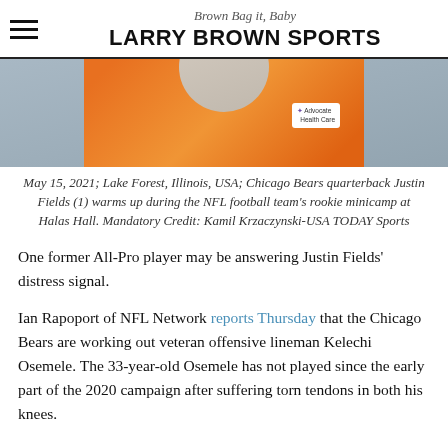Brown Bag it, Baby
LARRY BROWN SPORTS
[Figure (photo): Photo of Chicago Bears quarterback Justin Fields wearing an orange jersey with an Advocate Health Care badge, warming up during rookie minicamp at Halas Hall.]
May 15, 2021; Lake Forest, Illinois, USA; Chicago Bears quarterback Justin Fields (1) warms up during the NFL football team's rookie minicamp at Halas Hall. Mandatory Credit: Kamil Krzaczynski-USA TODAY Sports
One former All-Pro player may be answering Justin Fields' distress signal.
Ian Rapoport of NFL Network reports Thursday that the Chicago Bears are working out veteran offensive lineman Kelechi Osemele. The 33-year-old Osemele has not played since the early part of the 2020 campaign after suffering torn tendons in both his knees.